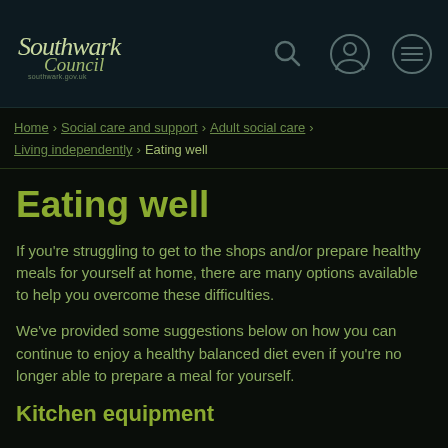Southwark Council — navigation bar with search, account, and menu icons
Home > Social care and support > Adult social care > Living independently > Eating well
Eating well
If you're struggling to get to the shops and/or prepare healthy meals for yourself at home, there are many options available to help you overcome these difficulties.
We've provided some suggestions below on how you can continue to enjoy a healthy balanced diet even if you're no longer able to prepare a meal for yourself.
Kitchen equipment